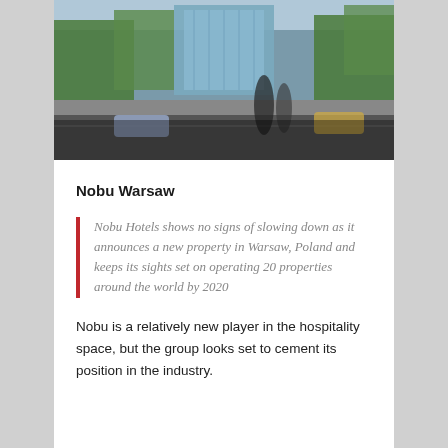[Figure (photo): Street-level urban photo of Warsaw city center with modern glass building visible through tree-lined boulevard, pedestrians in motion, cars on road]
Nobu Warsaw
Nobu Hotels shows no signs of slowing down as it announces a new property in Warsaw, Poland and keeps its sights set on operating 20 properties around the world by 2020
Nobu is a relatively new player in the hospitality space, but the group looks set to cement its position in the industry.